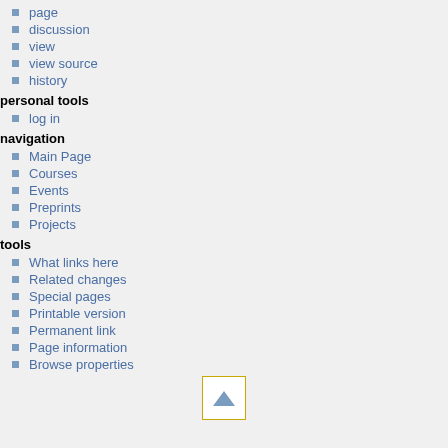page
discussion
view
view source
history
personal tools
log in
navigation
Main Page
Courses
Events
Preprints
Projects
tools
What links here
Related changes
Special pages
Printable version
Permanent link
Page information
Browse properties
[Figure (other): Scroll to top button with upward-pointing triangle arrow, bordered in yellow/gold]